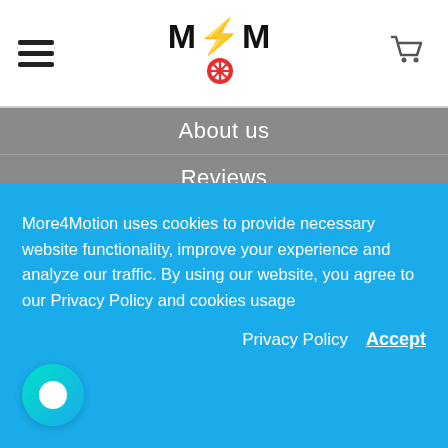M4M logo with hamburger menu and cart icon
About us
Reviews
Contact us
Repair Manual
Disclaimer
More4Motion uses cookies to provide necessary website functionality, improve your experience and analyze our traffic. By using our website, you agree to our Privacy Policy and cookies usage
Privacy Policy  Accept